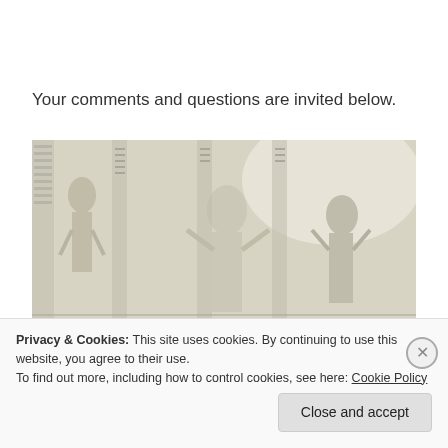Your comments and questions are invited below.
[Figure (photo): Ancient Egyptian stone relief carving showing figures with hieroglyphics. Central figures appear to be Egyptian gods or pharaohs in profile, with hieroglyphic columns between them. The carving is in pale limestone or white stone.]
Privacy & Cookies: This site uses cookies. By continuing to use this website, you agree to their use.
To find out more, including how to control cookies, see here: Cookie Policy
Close and accept